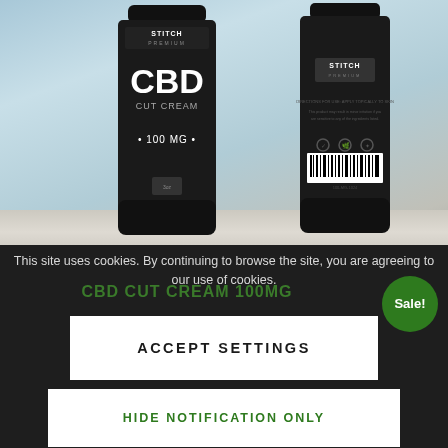[Figure (photo): Two black squeeze tubes of Stitch Premium CBD Cut Cream 100MG, one showing the front label with 'CBD CUT CREAM 100 MG' text, one showing the back, both standing on a marble surface with a light blue background]
This site uses cookies. By continuing to browse the site, you are agreeing to our use of cookies.
CBD CUT CREAM 100MG
Sale!
ACCEPT SETTINGS
HIDE NOTIFICATION ONLY